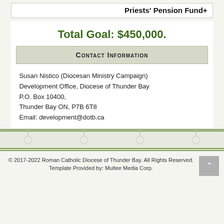Priests' Pension Fund+
Total Goal: $450,000.
Contact Information
Susan Nistico (Diocesan Ministry Campaign)
Development Office, Diocese of Thunder Bay
P.O. Box 10400,
Thunder Bay ON, P7B 6T8
Email: development@dotb.ca
© 2017-2022 Roman Catholic Diocese of Thunder Bay. All Rights Reserved.
Template Provided by: Multee Media Corp.